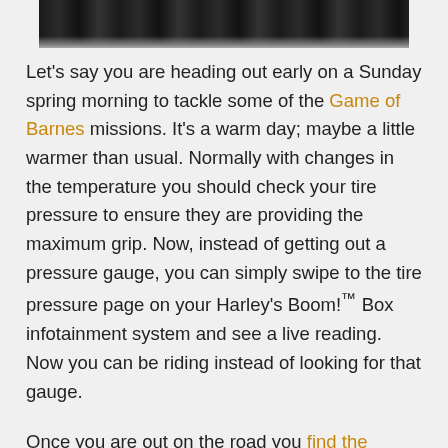[Figure (photo): Partial photo strip at top of page showing a dark motorcycle or vehicle component in close-up]
Let's say you are heading out early on a Sunday spring morning to tackle some of the Game of Barnes missions. It's a warm day; maybe a little warmer than usual. Normally with changes in the temperature you should check your tire pressure to ensure they are providing the maximum grip. Now, instead of getting out a pressure gauge, you can simply swipe to the tire pressure page on your Harley's Boom!™ Box infotainment system and see a live reading. Now you can be riding instead of looking for that gauge.
Once you are out on the road you find the perfect mountain pass and pick up the pace. You are coming up to a corner and start to brake using just the lever. Here, the Cornering-Enhanced Electronic